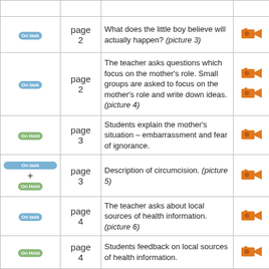|  | page | description |  |
| --- | --- | --- | --- |
| On task | page 2 | What does the little boy believe will actually happen? (picture 3) | camera |
| On task | page 2 | The teacher asks questions which focus on the mother's role. Small groups are asked to focus on the mother's role and write down ideas.(picture 4) | camera x2 |
| On Hold | page 3 | Students explain the mother's situation – embarrassment and fear of ignorance. | camera |
| On task + On Hold | page 3 | Description of circumcision. (picture 5) | camera |
| On task | page 4 | The teacher asks about local sources of health information. (picture 6) | camera |
| On Hold | page 4 | Students feedback on local sources of health information. | camera |
| Overview | page 4 | Establish necessity of rules to make class discussions 'safe'. | camera |
|  | page | Apause ground rules come from | camera |